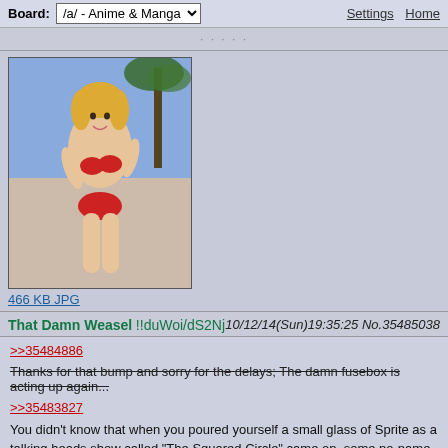Board: /a/ - Anime & Manga   Settings  Home
[Figure (illustration): Anime-style illustration of a blonde female character in a red bikini on a beach background]
466 KB JPG
That Damn Weasel !!duWoi/dS2Nj  10/12/14(Sun)19:35:25 No.35485038
>>35484886
Thanks for that bump and sorry for the delays; The damn fusebox is acting up again...
>>35483827
You didn't know that when you poured yourself a small glass of Sprite as a talking heads show called "The Squared Circle" came on, some no-name sports columnist that kept getting fired from every Newspaper in Southtown over his "Bloodsport" series of articles covering the earliest days of The King of Fighter's Tournament (Back when it was Southtown-only and there were no teams, no limits on weapons or any honest rules) trading barbs with the money-grubbing, padded-record but perennially popular boxer Bruce Leeroy on the KoF Tournament as a whole.